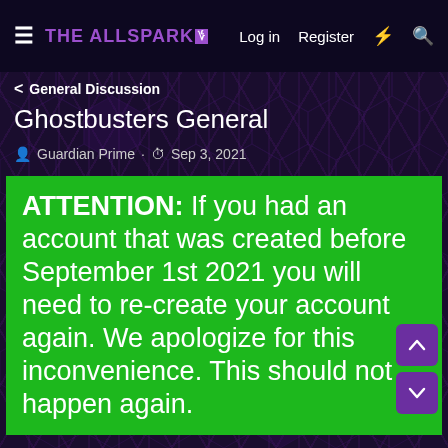THE ALLSPARK | Log in | Register
< General Discussion
Ghostbusters General
Guardian Prime · Sep 3, 2021
ATTENTION: If you had an account that was created before September 1st 2021 you will need to re-create your account again. We apologize for this inconvenience. This should not happen again.